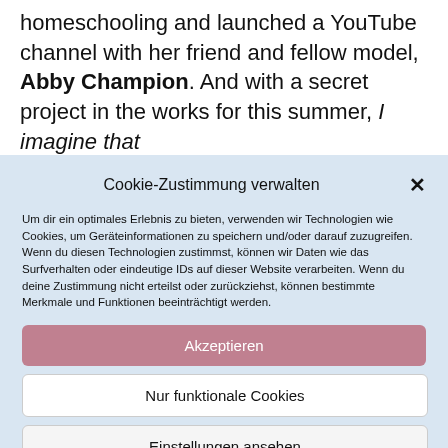homeschooling and launched a YouTube channel with her friend and fellow model, Abby Champion. And with a secret project in the works for this summer, I imagine that Billie...
Cookie-Zustimmung verwalten
Um dir ein optimales Erlebnis zu bieten, verwenden wir Technologien wie Cookies, um Geräteinformationen zu speichern und/oder darauf zuzugreifen. Wenn du diesen Technologien zustimmst, können wir Daten wie das Surfverhalten oder eindeutige IDs auf dieser Website verarbeiten. Wenn du deine Zustimmung nicht erteilst oder zurückziehst, können bestimmte Merkmale und Funktionen beeinträchtigt werden.
Akzeptieren
Nur funktionale Cookies
Einstellungen ansehen